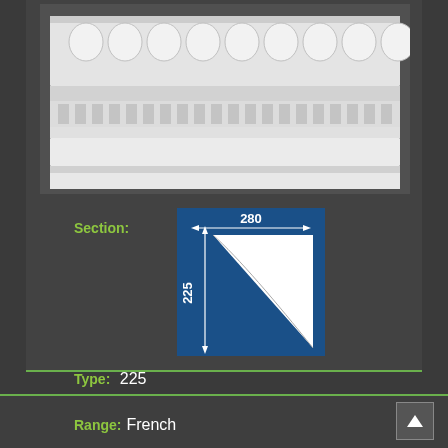[Figure (photo): White ornamental cornice/crown molding product photo showing egg-and-dart pattern and dentil details, on dark gray background]
Section:
[Figure (schematic): Section diagram on blue background showing cross-section profile of the molding. Width labeled 280 at top, height labeled 225 on left side. White triangular profile shape shown.]
Type: 225
Length: 280
Ornamental
3.6
Range: French